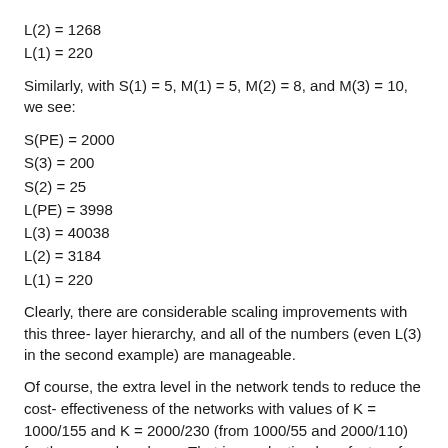L(2) = 1268
L(1) = 220
Similarly, with S(1) = 5, M(1) = 5, M(2) = 8, and M(3) = 10, we see:
S(PE) = 2000
S(3) = 200
S(2) = 25
L(PE) = 3998
L(3) = 40038
L(2) = 3184
L(1) = 220
Clearly, there are considerable scaling improvements with this three- layer hierarchy, and all of the numbers (even L(3) in the second example) are manageable.
Of course, the extra level in the network tends to reduce the cost- effectiveness of the networks with values of K = 1000/155 and K = 2000/230 (from 1000/55 and 2000/110) for the examples above. That is a reduction by a factor of 2...